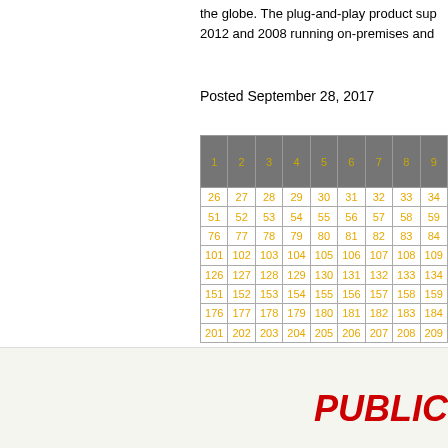the globe. The plug-and-play product sup... 2012 and 2008 running on-premises and...
Posted September 28, 2017
| 1 | 2 | 3 | 4 | 5 | 6 | 7 | 8 | 9 |
| --- | --- | --- | --- | --- | --- | --- | --- | --- |
| 26 | 27 | 28 | 29 | 30 | 31 | 32 | 33 | 34 |
| 51 | 52 | 53 | 54 | 55 | 56 | 57 | 58 | 59 |
| 76 | 77 | 78 | 79 | 80 | 81 | 82 | 83 | 84 |
| 101 | 102 | 103 | 104 | 105 | 106 | 107 | 108 | 109 |
| 126 | 127 | 128 | 129 | 130 | 131 | 132 | 133 | 134 |
| 151 | 152 | 153 | 154 | 155 | 156 | 157 | 158 | 159 |
| 176 | 177 | 178 | 179 | 180 | 181 | 182 | 183 | 184 |
| 201 | 202 | 203 | 204 | 205 | 206 | 207 | 208 | 209 |
PUBLIC